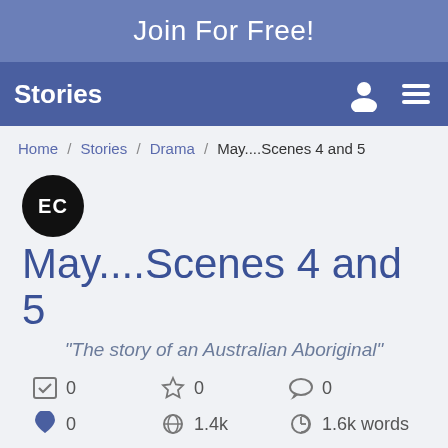Join For Free!
Stories
Home / Stories / Drama / May....Scenes 4 and 5
[Figure (illustration): Black circular avatar with initials EC]
May....Scenes 4 and 5
"The story of an Australian Aboriginal"
0   0   0   0   1.4k   1.6k words